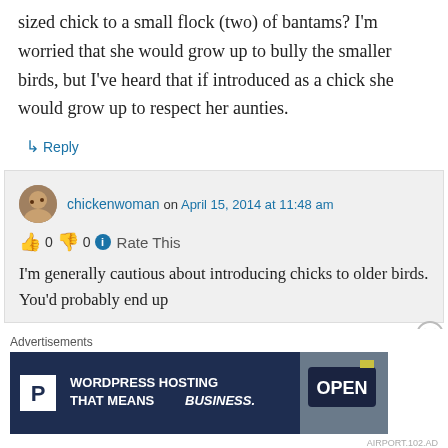sized chick to a small flock (two) of bantams? I'm worried that she would grow up to bully the smaller birds, but I've heard that if introduced as a chick she would grow up to respect her aunties.
↳ Reply
chickenwoman on April 15, 2014 at 11:48 am
👍 0 👎 0 ℹ Rate This
I'm generally cautious about introducing chicks to older birds. You'd probably end up
Advertisements
[Figure (screenshot): WordPress Hosting advertisement banner with dark blue background, P logo, text WORDPRESS HOSTING THAT MEANS BUSINESS., and an OPEN sign photo]